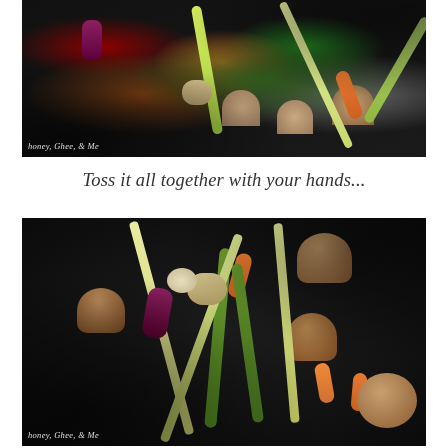[Figure (photo): Close-up photo on dark background showing raw mixed vegetables including mushrooms, carrots, celery, lemongrass stalks, purple radish, and potato chunks in a black wok or bowl. Watermark reads 'honey, Ghee, & Me' at bottom left.]
Toss it all together with your hands...
[Figure (photo): Photo of mixed vegetables tossed together in a black slow cooker or wok, showing mushrooms, carrots, celery, lemongrass stalks crossed, purple radish chunks, baby corn, and potatoes coated in sauce. Watermark reads 'honey, Ghee, & Me' at bottom left.]